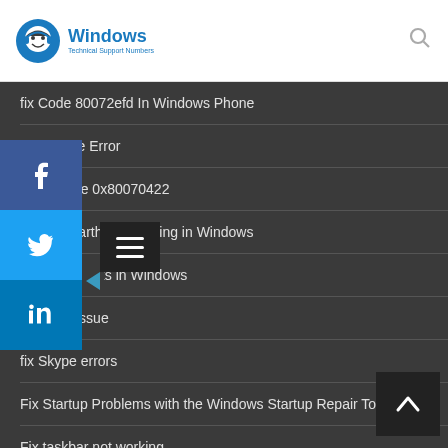[Figure (logo): Windows Technical Support Numbers logo with blue circle avatar and blue text]
fix Code 80072efd In Windows Phone
Fix Dll File Error
Error Code 0x80070422
Google Earth not working in Windows
Memory Leaks in Windows
Fix Ram issue
fix Skype errors
Fix Startup Problems with the Windows Startup Repair Tool
Fix taskbar not working
Fix Unexpected Store Exception on Windows